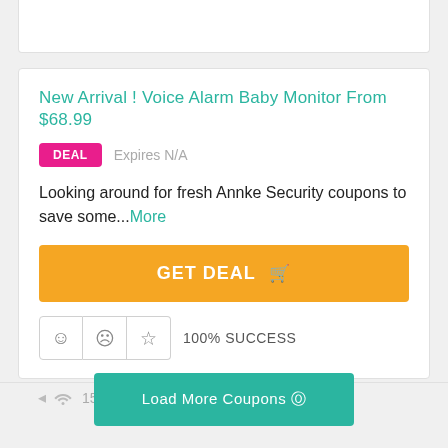New Arrival ! Voice Alarm Baby Monitor From $68.99
DEAL   Expires N/A
Looking around for fresh Annke Security coupons to save some...More
GET DEAL 🛒
☺ ☹ ☆ 100% SUCCESS
15 Used - 0 Today
Load More Coupons ⊕